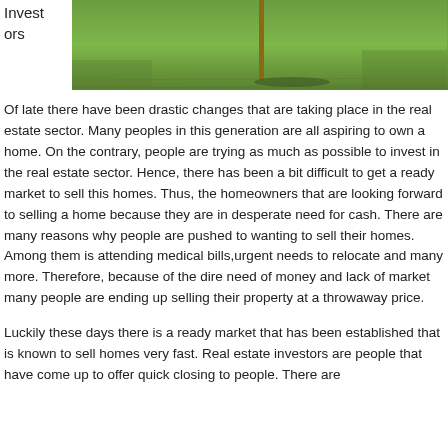Investors
[Figure (photo): Photo of a grassy lawn with a sign post, related to real estate]
Of late there have been drastic changes that are taking place in the real estate sector. Many peoples in this generation are all aspiring to own a home. On the contrary, people are trying as much as possible to invest in the real estate sector. Hence, there has been a bit difficult to get a ready market to sell this homes. Thus, the homeowners that are looking forward to selling a home because they are in desperate need for cash. There are many reasons why people are pushed to wanting to sell their homes. Among them is attending medical bills,urgent needs to relocate and many more. Therefore, because of the dire need of money and lack of market many people are ending up selling their property at a throwaway price.
Luckily these days there is a ready market that has been established that is known to sell homes very fast. Real estate investors are people that have come up to offer quick closing to people. There are